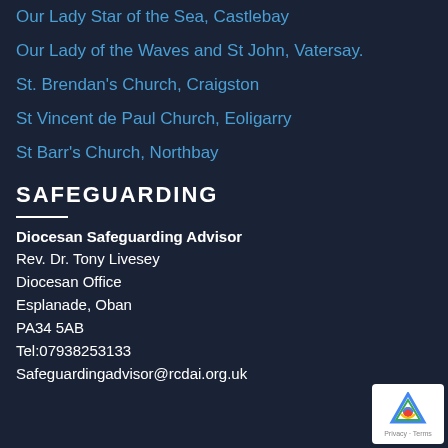Our Lady Star of the Sea, Castlebay
Our Lady of the Waves and St John, Vatersay.
St. Brendan's Church, Craigston
St Vincent de Paul Church, Eoligarry
St Barr's Church, Northbay
SAFEGUARDING
Diocesan Safeguarding Advisor
Rev. Dr. Tony Livesey
Diocesan Office
Esplanade, Oban
PA34 5AB
Tel:07938253133
Safeguardingadvisor@rcdai.org.uk